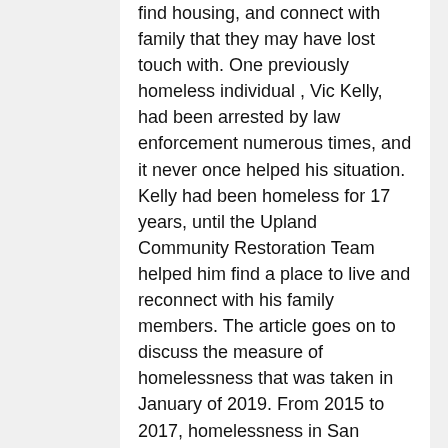find housing, and connect with family that they may have lost touch with. One previously homeless individual , Vic Kelly, had been arrested by law enforcement numerous times, and it never once helped his situation. Kelly had been homeless for 17 years, until the Upland Community Restoration Team helped him find a place to live and reconnect with his family members. The article goes on to discuss the measure of homelessness that was taken in January of 2019. From 2015 to 2017, homelessness in San Bernardino County decreased. However, that number stared to rise again by 2018 and by January of